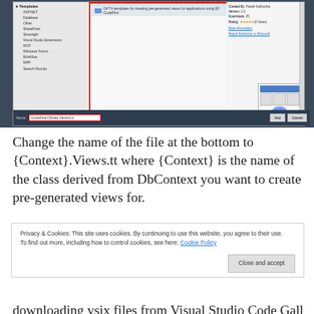[Figure (screenshot): Visual Studio dialog screenshot showing template list on left panel (ASP.NET, Database, Other, SharePoint, Silverlight, Visual Studio Extensions, WCF, Windows Forms, Workflow, WPF, Search Results), center panel with red-outlined selection showing C# T4 templates item, right panel with metadata (Created By, Version, Downloads, Rating, More Information, Report Extension to Microsoft) and a preview image. Bottom bar shows Name field with 'CodeFirstCSharp.Views3.tt' outlined in red, with Add and Cancel buttons.]
Change the name of the file at the bottom to {Context}.Views.tt where {Context} is the name of the class derived from DbContext you want to create pre-generated views for.
Privacy & Cookies: This site uses cookies. By continuing to use this website, you agree to their use.
To find out more, including how to control cookies, see here: Cookie Policy
downloading vsix files from Visual Studio Code Gallery